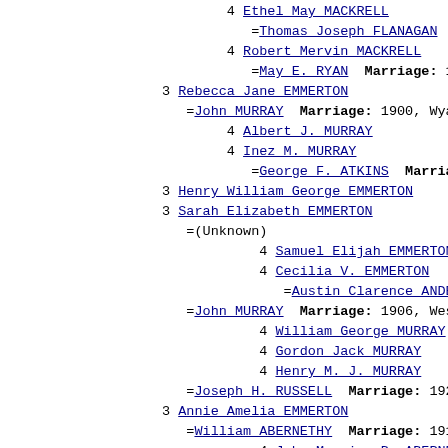4 Ethel May MACKRELL
=Thomas Joseph FLANAGAN  Marriage:
4 Robert Mervin MACKRELL
=May E. RYAN  Marriage: 1933,
3 Rebecca Jane EMMERTON
=John MURRAY  Marriage: 1900, Wyalong,
4 Albert J. MURRAY
4 Inez M. MURRAY
=George F. ATKINS  Marriage: 19
3 Henry William George EMMERTON
3 Sarah Elizabeth EMMERTON
=(Unknown)
4 Samuel Elijah EMMERTON
4 Cecilia V. EMMERTON
=Austin Clarence ANDERSON  Marr
=John MURRAY  Marriage: 1906, West Wyal
4 William George MURRAY
4 Gordon Jack MURRAY
4 Henry M. J. MURRAY
=Joseph H. RUSSELL  Marriage: 1922, Wes
3 Annie Amelia EMMERTON
=William ABERNETHY  Marriage: 1917, Wes
4 John Maurice B. ABERNETHY
=Margaret Joan MURTAGH  Marriag
3 George Mark EMMERTON
=Annie Evangeline INGS  Marriage: 1920,
3 Alice M. EMMERTON
3 Alameda I. EMMERTON
=Harold H. THOMAS  Marriage: 1920, Gleb
2 Sarah Elizabeth EMERTON